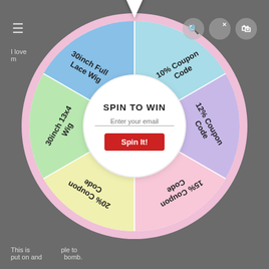≡  [icons: search, X, cart]
I love ... m...
[Figure (other): Spin-to-win prize wheel with 6 segments: '10% Coupon Code' (light blue), '12% Coupon Code' (lavender/purple), '15% Coupon Code' (pink, upside-down), '20% Coupon Code' (yellow, upside-down), '30inch 13x4 Wig' (green), '30inch Full Lace Wig' (blue). Center circle shows 'SPIN TO WIN', email input, and 'Spin It!' button. White triangle pointer at top.]
This is ... ple to put on and ... bomb.